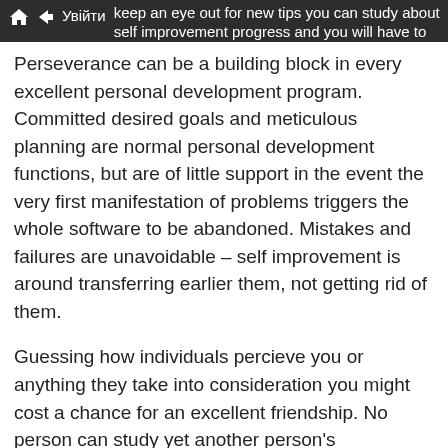keep an eye out for new tips you can study about self improvement progress and you will have to consistently apply those tips. When you do that, you then ought to sense a change inside of you.
Perseverance can be a building block in every excellent personal development program. Committed desired goals and meticulous planning are normal personal development functions, but are of little support in the event the very first manifestation of problems triggers the whole software to be abandoned. Mistakes and failures are unavoidable – self improvement is around transferring earlier them, not getting rid of them.
Guessing how individuals percieve you or anything they take into consideration you might cost a chance for an excellent friendship. No person can study yet another person's imagination or heart, so try not to continuously concern yourself with the other people think. Be yourself and become sincere, and enable time produce the trust of